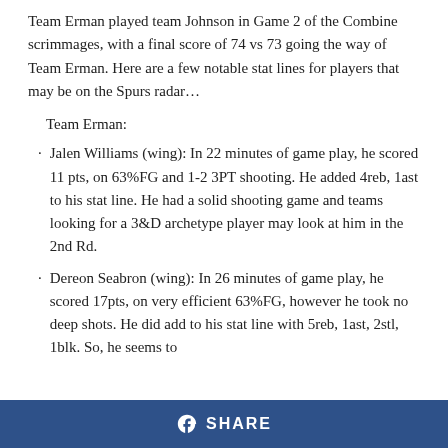Team Erman played team Johnson in Game 2 of the Combine scrimmages, with a final score of 74 vs 73 going the way of Team Erman. Here are a few notable stat lines for players that may be on the Spurs radar…
Team Erman:
Jalen Williams (wing): In 22 minutes of game play, he scored 11 pts, on 63%FG and 1-2 3PT shooting. He added 4reb, 1ast to his stat line. He had a solid shooting game and teams looking for a 3&D archetype player may look at him in the 2nd Rd.
Dereon Seabron (wing): In 26 minutes of game play, he scored 17pts, on very efficient 63%FG, however he took no deep shots. He did add to his stat line with 5reb, 1ast, 2stl, 1blk. So, he seems to
SHARE